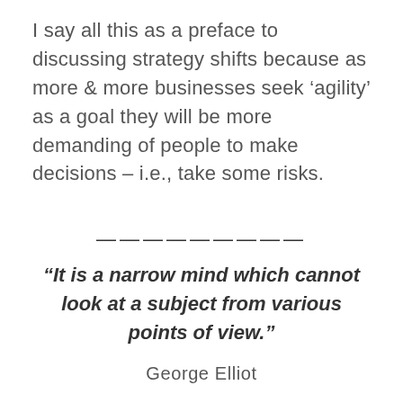I say all this as a preface to discussing strategy shifts because as more & more businesses seek ‘agility’ as a goal they will be more demanding of people to make decisions – i.e., take some risks.
—————————
“It is a narrow mind which cannot look at a subject from various points of view.”
George Elliot